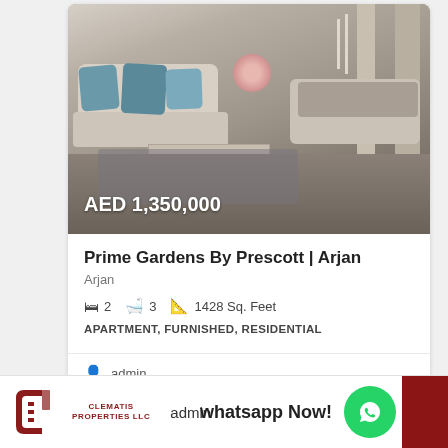[Figure (photo): Interior photo of a furnished living room with beige sofas, teal/blue decorative pillows, a marble coffee table with gold legs, sheer curtains, and a bed/chaise in the background. Price overlay shows AED 1,350,000.]
AED 1,350,000
Prime Gardens By Prescott | Arjan
Arjan
2  3  1428 Sq. Feet
APARTMENT, FURNISHED, RESIDENTIAL
admin
[Figure (logo): Clematis Properties LLC logo — red geometric C-shape building icon with company name below]
admin
whatsapp Now!